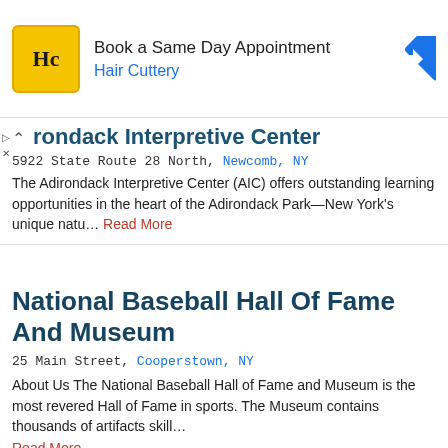[Figure (other): Hair Cuttery advertisement banner with logo and navigation icon. Text: 'Book a Same Day Appointment' and 'Hair Cuttery']
rondack Interpretive Center
5922 State Route 28 North, Newcomb, NY
The Adirondack Interpretive Center (AIC) offers outstanding learning opportunities in the heart of the Adirondack Park—New York's unique natu... Read More
National Baseball Hall Of Fame And Museum
25 Main Street, Cooperstown, NY
About Us The National Baseball Hall of Fame and Museum is the most revered Hall of Fame in sports. The Museum contains thousands of artifacts skill... Read More